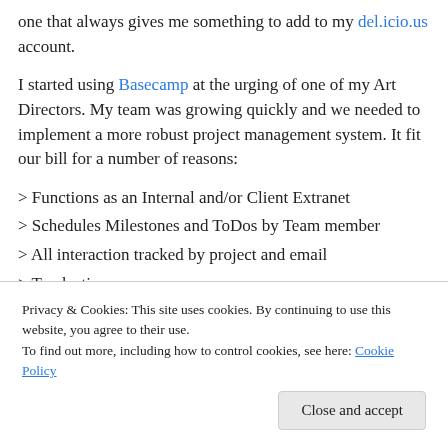one that always gives me something to add to my del.icio.us account.
I started using Basecamp at the urging of one of my Art Directors. My team was growing quickly and we needed to implement a more robust project management system. It fit our bill for a number of reasons:
> Functions as an Internal and/or Client Extranet
> Schedules Milestones and ToDos by Team member
> All interaction tracked by project and email
> Tracks time
Privacy & Cookies: This site uses cookies. By continuing to use this website, you agree to their use.
To find out more, including how to control cookies, see here: Cookie Policy
Close and accept